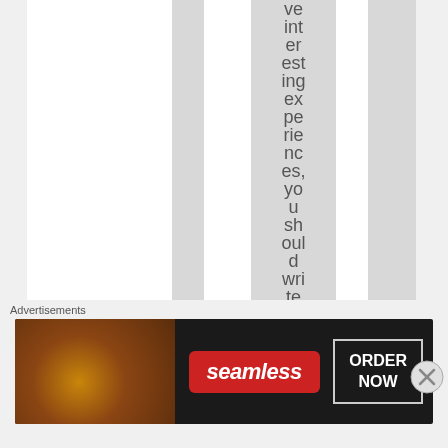ve int er est ing ex pe rie nc es, yo u sh oul d wri te in
[Figure (screenshot): Advertisement banner for Seamless food ordering service showing pizza image, Seamless logo in red badge, and ORDER NOW button]
Advertisements